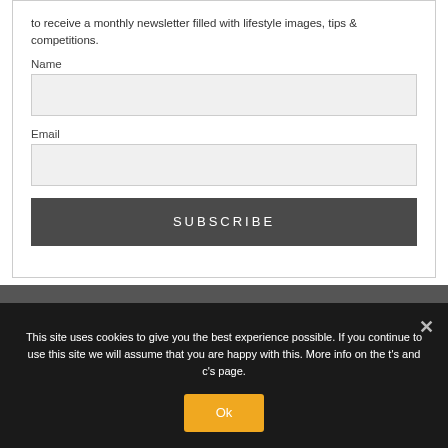to receive a monthly newsletter filled with lifestyle images, tips & competitions.
Name
Email
SUBSCRIBE
This site uses cookies to give you the best experience possible. If you continue to use this site we will assume that you are happy with this. More info on the t's and c's page.
Ok